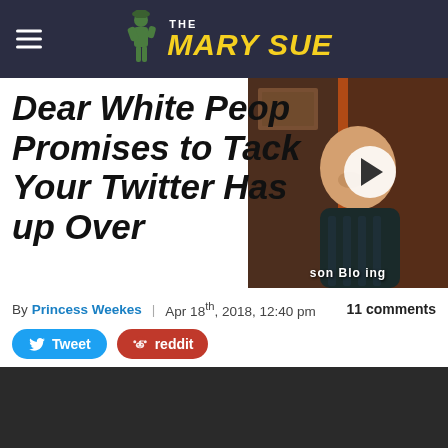THE MARY SUE
Dear White People Promises to Tackle What Your Twitter Has Been Blowing up Over
[Figure (screenshot): Thumbnail image of a bald man in a dark sweater with a play button overlay, from a video]
By Princess Weekes | Apr 18th, 2018, 12:40 pm   11 comments
[Figure (screenshot): Embedded video player showing 'This video is private' message on dark background]